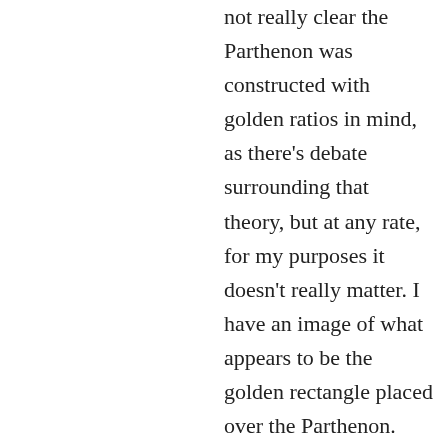not really clear the Parthenon was constructed with golden ratios in mind, as there's debate surrounding that theory, but at any rate, for my purposes it doesn't really matter. I have an image of what appears to be the golden rectangle placed over the Parthenon. The truth is, the image I used isn't even a really good representation of the golden rectangle because I had to stretch the image to make it fit over my photo. Even if it were a good representation, it wouldn't be a precise measurement of the Parthenon's dimensions.